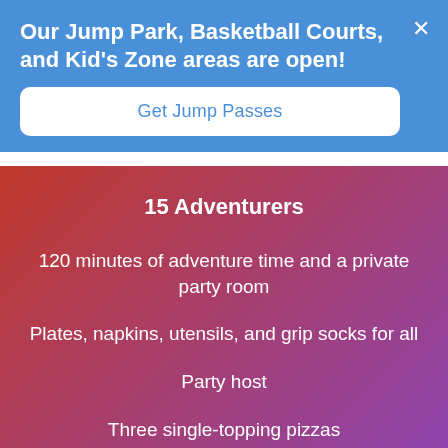Our Jump Park, Basketball Courts, and Kid's Zone areas are open!
Get Jump Passes
15 Adventurers
120 minutes of adventure time and a private party room
Plates, napkins, utensils, and grip socks for all
Party host
Three single-topping pizzas